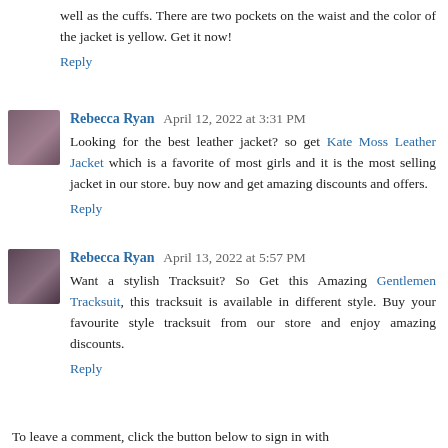well as the cuffs. There are two pockets on the waist and the color of the jacket is yellow. Get it now!
Reply
Rebecca Ryan  April 12, 2022 at 3:31 PM
Looking for the best leather jacket? so get Kate Moss Leather Jacket which is a favorite of most girls and it is the most selling jacket in our store. buy now and get amazing discounts and offers.
Reply
Rebecca Ryan  April 13, 2022 at 5:57 PM
Want a stylish Tracksuit? So Get this Amazing Gentlemen Tracksuit, this tracksuit is available in different style. Buy your favourite style tracksuit from our store and enjoy amazing discounts.
Reply
To leave a comment, click the button below to sign in with